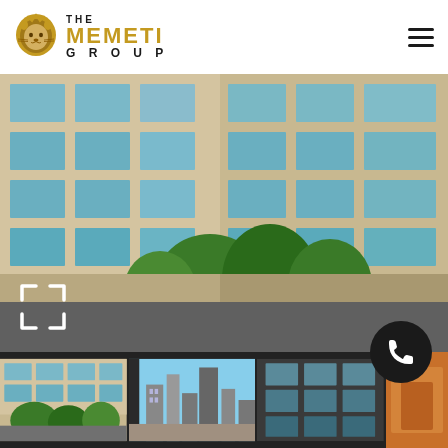[Figure (logo): The Memeti Group logo with golden lion icon and stylized text]
[Figure (photo): Large hero photo of a multi-story beige brick apartment or office building with large blue-tinted windows and mature green trees in front]
[Figure (photo): Thumbnail strip with three photos: exterior of building with trees, cityscape view from window, and interior hallway]